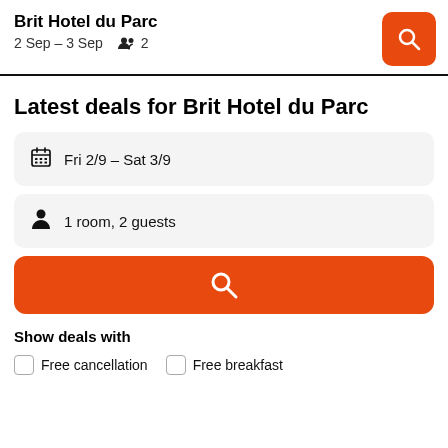Brit Hotel du Parc | 2 Sep – 3 Sep | 2 guests
Latest deals for Brit Hotel du Parc
Fri 2/9 - Sat 3/9
1 room, 2 guests
Show deals with
Free cancellation
Free breakfast